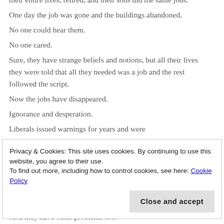their entire lives, retired, and their sons did the same jobs.
One day the job was gone and the buildings abandoned.
No one could hear them.
No one cared.
Sure, they have strange beliefs and notions, but all their lives they were told that all they needed was a job and the rest followed the script.
Now the jobs have disappeared.
Ignorance and desperation.
Liberals issued warnings for years and were
And they have other problems too.
Privacy & Cookies: This site uses cookies. By continuing to use this website, you agree to their use.
To find out more, including how to control cookies, see here: Cookie Policy
Close and accept